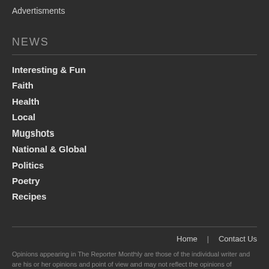Advertisments
NEWS
Interesting & Fun
Faith
Health
Local
Mugshots
National & Global
Politics
Poetry
Recipes
Home | Contact Us
Opinions appearing in The Reporter Monthly are those of the individual writer and are his or her opinions and point of view and may not reflect the opinions of